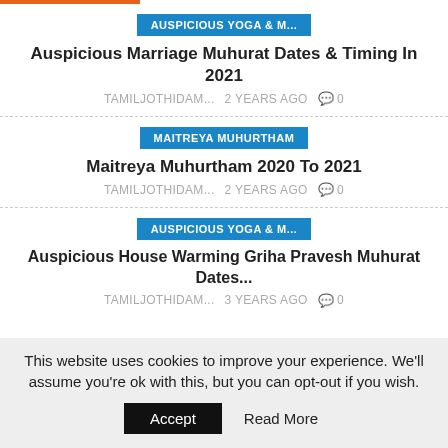AUSPICIOUS YOGA & M...
Auspicious Marriage Muhurat Dates & Timing In 2021
TAMILJOTHIDAM...   2 years ago   0
MAITREYA MUHURTHAM
Maitreya Muhurtham 2020 To 2021
TAMILJOTHIDAM...   2 years ago   0
AUSPICIOUS YOGA & M...
Auspicious House Warming Griha Pravesh Muhurat Dates...
TAMILJOTHIDAM...   3 years ago   0
This website uses cookies to improve your experience. We'll assume you're ok with this, but you can opt-out if you wish.
Accept   Read More